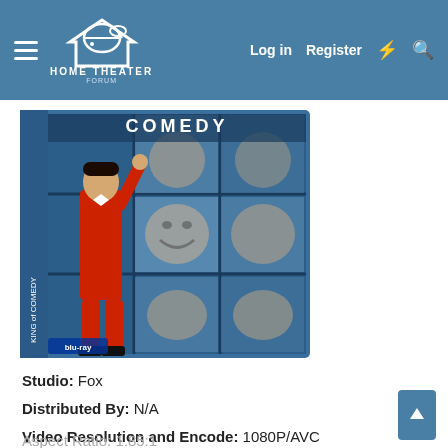HOME THEATER FORUM — Log in | Register
[Figure (photo): Blu-ray cover art showing a man in a red suit standing in front of a grid of television screens displaying a smiling man's face. The spine reads 'King of Comedy'. The cover has a blue Blu-ray border.]
Studio: Fox
Distributed By: N/A
Video Resolution and Encode: 1080P/AVC
Aspect Ratio: 1.85:1